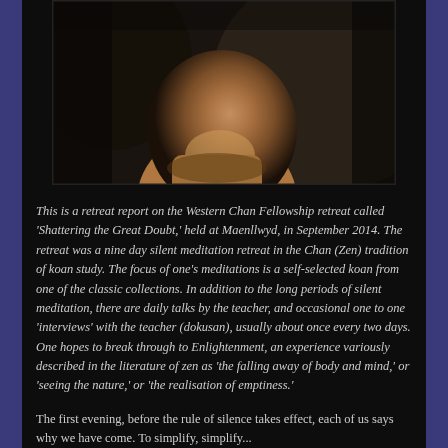[Figure (photo): Close-up portrait photograph of a person's face and neck, cropped to show mainly the lower face, chin and neck area against a dark background. The image appears to be in warm brown tones.]
This is a retreat report on the Western Chan Fellowship retreat called 'Shattering the Great Doubt,' held at Maenllwyd, in September 2014. The retreat was a nine day silent meditation retreat in the Chan (Zen) tradition of koan study. The focus of one's meditations is a self-selected koan from one of the classic collections. In addition to the long periods of silent meditation, there are daily talks by the teacher, and occasional one to one 'interviews' with the teacher (dokusan), usually about once every two days. One hopes to break through to Enlightenment, an experience variously described in the literature of zen as 'the falling away of body and mind,' or 'seeing the nature,' or 'the realisation of emptiness.'
The first evening, before the rule of silence takes effect, each of us says why we have come. To simplify, simplify...